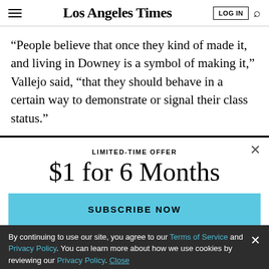Los Angeles Times
“People believe that once they kind of made it, and living in Downey is a symbol of making it,” Vallejo said, “that they should behave in a certain way to demonstrate or signal their class status.”
LIMITED-TIME OFFER
$1 for 6 Months
SUBSCRIBE NOW
By continuing to use our site, you agree to our Terms of Service and Privacy Policy. You can learn more about how we use cookies by reviewing our Privacy Policy. Close